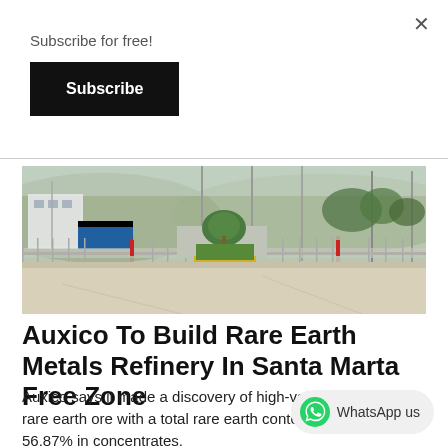Subscribe for free!
Subscribe
[Figure (photo): Entrance gate of Santa Marta Free Zone industrial area with security barriers, palm trees, and hills in the background]
Auxico To Build Rare Earth Metals Refinery In Santa Marta Free Zone
Auxico says it made a discovery of high-value rare earth ore with a total rare earth content of 56.87% in concentrates.
[Figure (other): WhatsApp us button with WhatsApp logo icon]